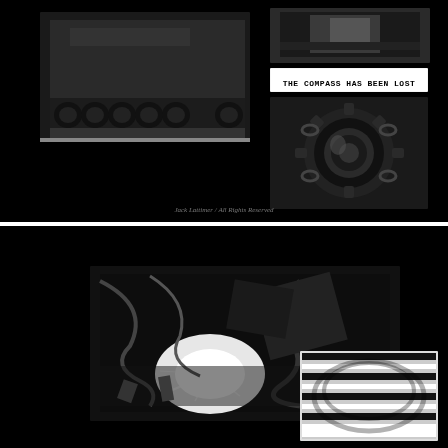[Figure (photo): Top panel: black background with two black-and-white photographs. Left photo shows a military tank from the side, focusing on tracks/wheels. Upper right shows a partial image of a person. A text label reads 'THE COMPASS HAS BEEN LOST'. Lower right shows a close-up black-and-white photo of mechanical gears and chain. Small italic copyright text at bottom reads 'Jack Lattimer / All Rights Reserved'.]
[Figure (photo): Bottom panel: black background with two overlapping black-and-white photographs. Left/center shows a dramatic high-contrast image of twisted metal debris with sparks/light. Lower right shows a close-up of a coiled spring or metal coil with striped pattern.]